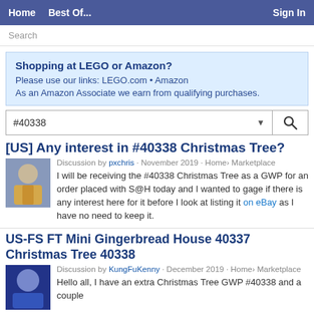Home  Best Of...  Sign In
Search
Shopping at LEGO or Amazon?
Please use our links: LEGO.com • Amazon
As an Amazon Associate we earn from qualifying purchases.
#40338
[US] Any interest in #40338 Christmas Tree?
Discussion by pxchris · November 2019 · Home› Marketplace
I will be receiving the #40338 Christmas Tree as a GWP for an order placed with S@H today and I wanted to gage if there is any interest here for it before I look at listing it on eBay as I have no need to keep it.
US-FS FT Mini Gingerbread House 40337 Christmas Tree 40338
Discussion by KungFuKenny · December 2019 · Home› Marketplace
Hello all, I have an extra Christmas Tree GWP #40338 and a couple